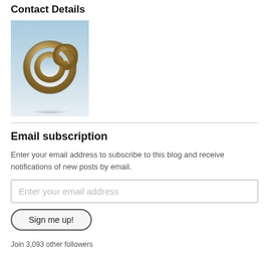Contact Details
[Figure (photo): 3D metallic at-sign (@) symbol on a light blue/white background]
Email subscription
Enter your email address to subscribe to this blog and receive notifications of new posts by email.
Enter your email address
Sign me up!
Join 3,093 other followers